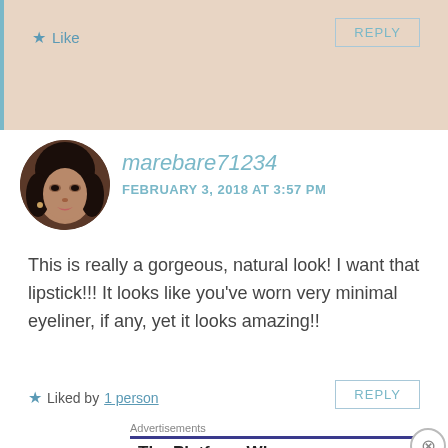[Figure (other): Top beige comment section with Like star and REPLY button]
[Figure (photo): Circular avatar photo of a woman with dark hair]
marebare71234
FEBRUARY 3, 2018 AT 3:57 PM
This is really a gorgeous, natural look! I want that lipstick!!! It looks like you've worn very minimal eyeliner, if any, yet it looks amazing!!
Liked by 1 person
REPLY
Advertisements
The Platform Where
Advertisements
[Figure (screenshot): WooCommerce advertisement banner: How to start selling subscriptions online]